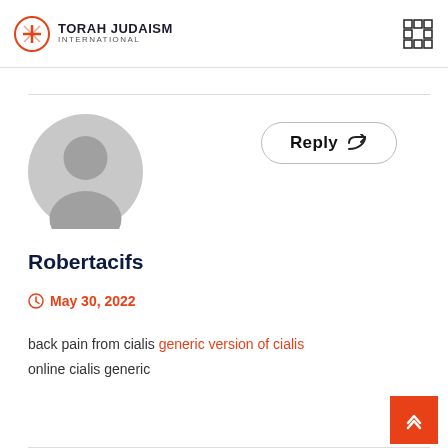TORAH JUDAISM INTERNATIONAL
[Figure (illustration): Gray default user avatar silhouette (circle head + shoulders)]
Reply
Robertacifs
May 30, 2022
back pain from cialis generic version of cialis online cialis generic